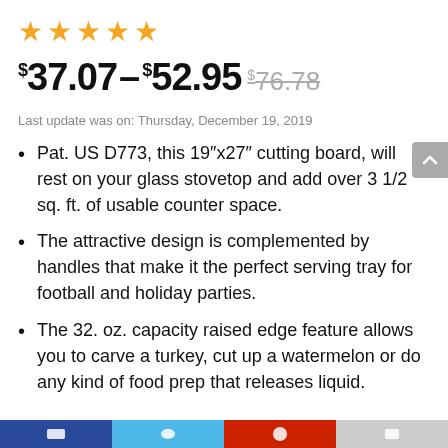[Figure (other): Five orange star rating icons in a row]
$37.07–$52.95 $76.78
Last update was on: Thursday, December 19, 2019
Pat. US D773, this 19” x27” cutting board, will rest on your glass stovetop and add over 3 1/2 sq. ft. of usable counter space.
The attractive design is complemented by handles that make it the perfect serving tray for football and holiday parties.
The 32. oz. capacity raised edge feature allows you to carve a turkey, cut up a watermelon or do any kind of food prep that releases liquid.
Social media share bar